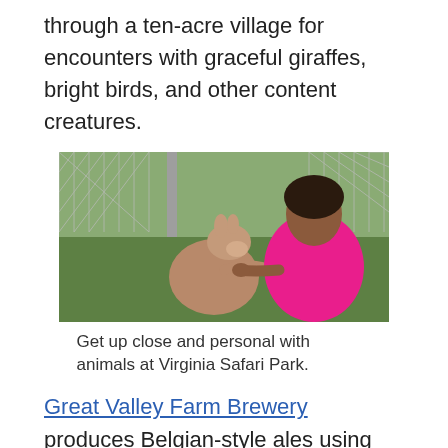through a ten-acre village for encounters with graceful giraffes, bright birds, and other content creatures.
[Figure (photo): A girl in a pink shirt feeding or interacting with a kangaroo through a chain-link fence at Virginia Safari Park. Green grass in the background.]
Get up close and personal with animals at Virginia Safari Park.
Great Valley Farm Brewery produces Belgian-style ales using ingredients from its 27-acre farm. Sip IPAs, English ales, German lagers, and other brews. Production will expand to include wine in spring of 2020.